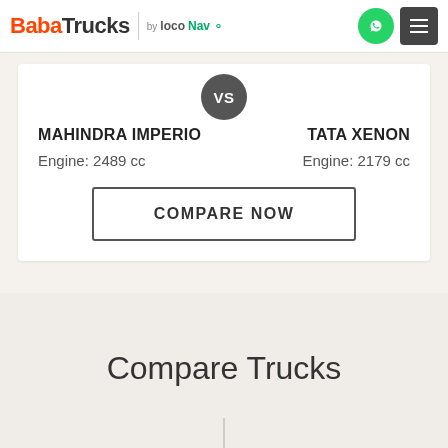BabaTrucks by locoNav
VS
MAHINDRA IMPERIO
TATA XENON
Engine: 2489 cc
Engine: 2179 cc
COMPARE NOW
Compare Trucks